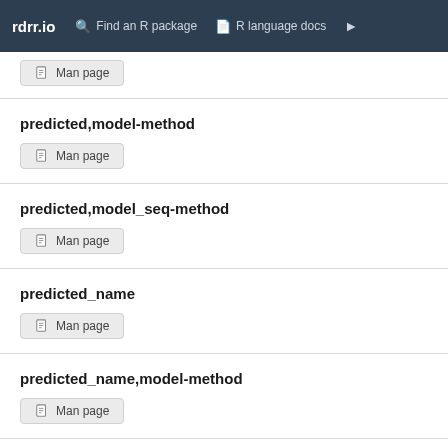rdrr.io  Find an R package  R language docs
Man page
predicted,model-method
Man page
predicted,model_seq-method
Man page
predicted_name
Man page
predicted_name,model-method
Man page